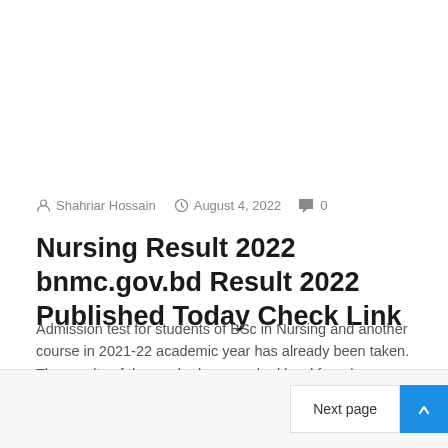Shahriar Hossain  August 4, 2022  0
Nursing Result 2022 bnmc.gov.bd Result 2022 Published Today Check Link
Admission test for students of BSc in Nursing and another course in 2021-22 academic year has already been taken. The results of those who have worked hard for a long…
Next page